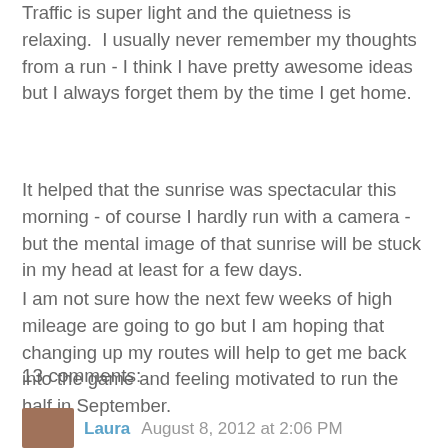Traffic is super light and the quietness is relaxing.  I usually never remember my thoughts from a run - I think I have pretty awesome ideas but I always forget them by the time I get home.
It helped that the sunrise was spectacular this morning - of course I hardly run with a camera - but the mental image of that sunrise will be stuck in my head at least for a few days.
I am not sure how the next few weeks of high mileage are going to go but I am hoping that changing up my routes will help to get me back into the game and feeling motivated to run the half in September.
J
13 comments:
Laura  August 8, 2012 at 2:06 PM